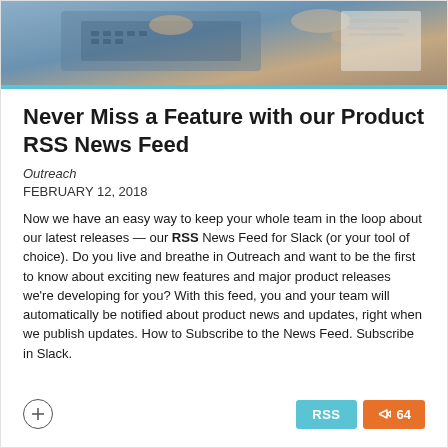[Figure (photo): Hero image showing hands on a laptop keyboard and a document, with blue accent bar at the bottom.]
Never Miss a Feature with our Product RSS News Feed
Outreach
FEBRUARY 12, 2018
Now we have an easy way to keep your whole team in the loop about our latest releases — our RSS News Feed for Slack (or your tool of choice). Do you live and breathe in Outreach and want to be the first to know about exciting new features and major product releases we're developing for you? With this feed, you and your team will automatically be notified about product news and updates, right when we publish updates. How to Subscribe to the News Feed. Subscribe in Slack.